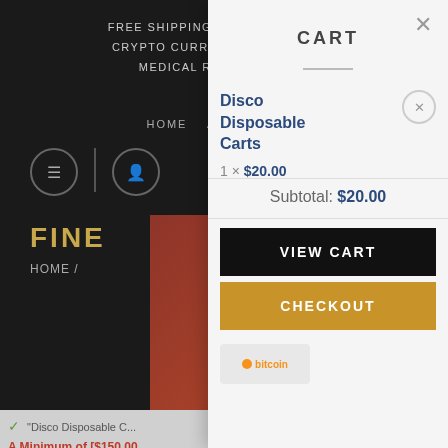FREE SHIPPING ON OR... CRYPTO CURRENCIES A... MEDICAL RECOMM...
HOME  ABOUT  BLOG
FINE
HOME /
✓ "Disco Disposable C...
A Minimum of [$150.00...
CART
Disco Disposable Carts
1 × $20.00
Subtotal: $20.00
VIEW CART
CHECKOUT
[Figure (logo): Bitcoin payment logo badge]